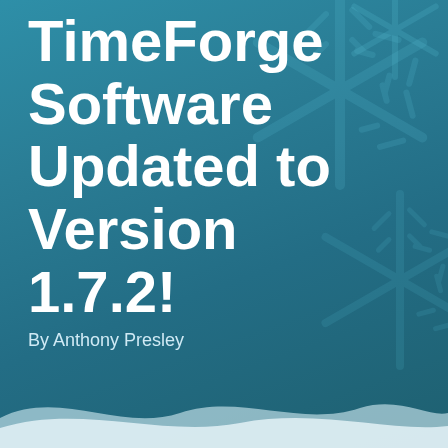TimeForge Software Updated to Version 1.7.2!
By Anthony Presley